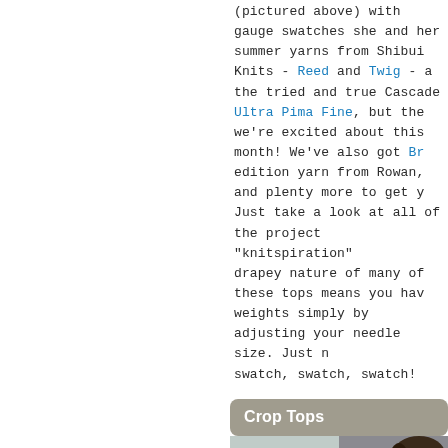(pictured above) with gauge swatches she and her summer yarns from Shibui Knits - Reed and Twig - and the tried and true Cascade Ultra Pima Fine, but there we're excited about this month! We've also got Br edition yarn from Rowan, and plenty more to get y Just take a look at all of the project "knitspiration" drapey nature of many of these tops means you hav weights simply by adjusting your needle size. Just r swatch, swatch, swatch!
Crop Tops
[Figure (photo): Two photos side by side: left shows a young woman with long curly brown hair wearing a dark charcoal lace knit crop top/sweater, standing in front of a wooden slatted background. Right column shows two photos: top is a partial view of another model in dark clothing, bottom is a close-up of dark textured yarn/fabric.]